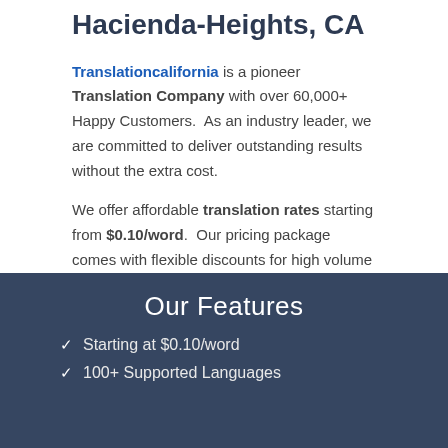Professional Translation Services in Hacienda-Heights, CA
Translationcalifornia is a pioneer Translation Company with over 60,000+ Happy Customers. As an industry leader, we are committed to deliver outstanding results without the extra cost.
We offer affordable translation rates starting from $0.10/word. Our pricing package comes with flexible discounts for high volume orders and other markdown promotions.
Our Features
Starting at $0.10/word
100+ Supported Languages